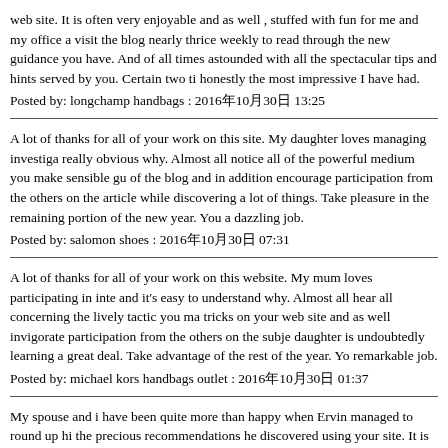web site. It is often very enjoyable and as well , stuffed with fun for me and my office visit the blog nearly thrice weekly to read through the new guidance you have. And of all times astounded with all the spectacular tips and hints served by you. Certain two ti honestly the most impressive I have had.
Posted by: longchamp handbags : 2016年10月30日 13:25
A lot of thanks for all of your work on this site. My daughter loves managing investiga really obvious why. Almost all notice all of the powerful medium you make sensible gu of the blog and in addition encourage participation from the others on the article while discovering a lot of things. Take pleasure in the remaining portion of the new year. You a dazzling job.
Posted by: salomon shoes : 2016年10月30日 07:31
A lot of thanks for all of your work on this website. My mum loves participating in inte and it's easy to understand why. Almost all hear all concerning the lively tactic you ma tricks on your web site and as well invigorate participation from the others on the subje daughter is undoubtedly learning a great deal. Take advantage of the rest of the year. Yo remarkable job.
Posted by: michael kors handbags outlet : 2016年10月30日 01:37
My spouse and i have been quite more than happy when Ervin managed to round up hi the precious recommendations he discovered using your site. It is now and again perpl continually be releasing helpful hints that the rest might have been trying to sell. And